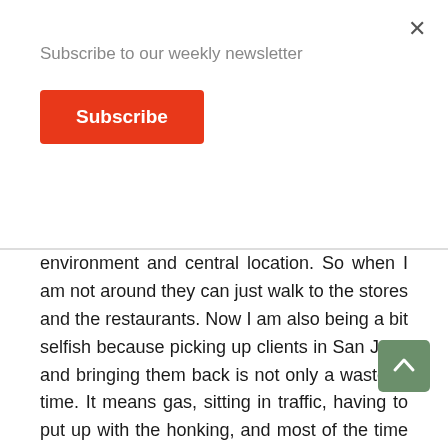Subscribe to our weekly newsletter
Subscribe
environment and central location. So when I am not around they can just walk to the stores and the restaurants. Now I am also being a bit selfish because picking up clients in San Jose and bringing them back is not only a waste of time. It means gas, sitting in traffic, having to put up with the honking, and most of the time during peak hours.
Adjusting to a new country is already difficult. If you get started in a city like San Jose, you might be up for a culture shock. I still remember my first day in San Jose. I asked myself, what the heck did I get myself into by moving to Costa Rica?
Staying in la Casa de las Tias will allow you to have a good